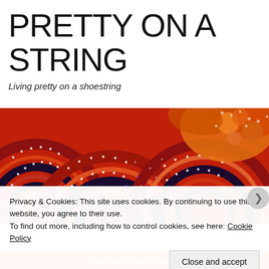PRETTY ON A STRING
Living pretty on a shoestring
[Figure (photo): Colourful Aboriginal-style dotted textile pattern in red, orange, black, white, and purple with circular and stripe motifs]
Privacy & Cookies: This site uses cookies. By continuing to use this website, you agree to their use.
To find out more, including how to control cookies, see here: Cookie Policy
Close and accept
email with more privacy.